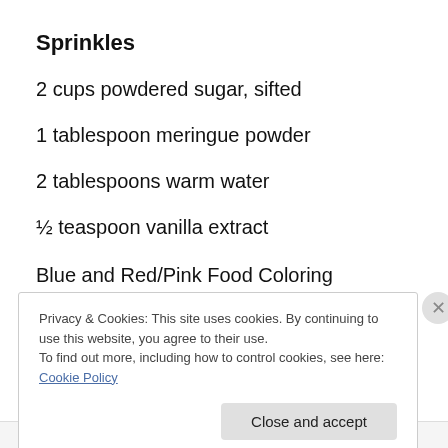Sprinkles
2 cups powdered sugar, sifted
1 tablespoon meringue powder
2 tablespoons warm water
½ teaspoon vanilla extract
Blue and Red/Pink Food Coloring
Privacy & Cookies: This site uses cookies. By continuing to use this website, you agree to their use.
To find out more, including how to control cookies, see here: Cookie Policy